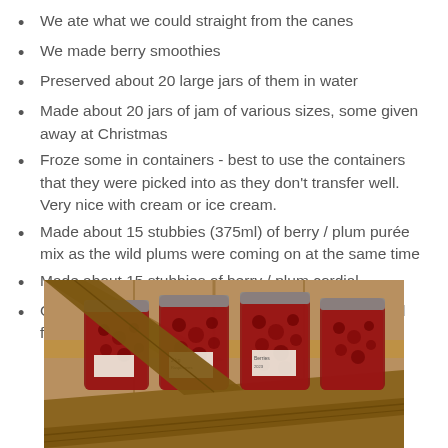We ate what we could straight from the canes
We made berry smoothies
Preserved about 20 large jars of them in water
Made about 20 jars of jam of various sizes, some given away at Christmas
Froze some in containers - best to use the containers that they were picked into as they don't transfer well. Very nice with cream or ice cream.
Made about 15 stubbies (375ml) of berry / plum purée mix as the wild plums were coming on at the same time
Made about 15 stubbies of berry / plum cordial
Gave away some fresh berries to our neighbours and friends
[Figure (photo): Mason jars filled with preserved berries sitting on a wooden shelf, viewed from below at an angle. The jars have white labels and contain dark red berries.]